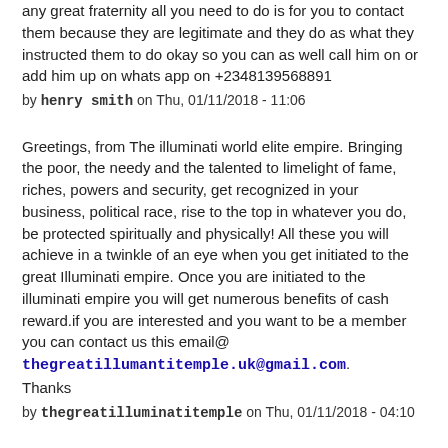any great fraternity all you need to do is for you to contact them because they are legitimate and they do as what they instructed them to do okay so you can as well call him on or add him up on whats app on +2348139568891
by henry smith on Thu, 01/11/2018 - 11:06
Greetings, from The illuminati world elite empire. Bringing the poor, the needy and the talented to limelight of fame, riches, powers and security, get recognized in your business, political race, rise to the top in whatever you do, be protected spiritually and physically! All these you will achieve in a twinkle of an eye when you get initiated to the great Illuminati empire. Once you are initiated to the illuminati empire you will get numerous benefits of cash reward.if you are interested and you want to be a member you can contact us this email@ thegreatillumantitemple.uk@gmail.com. Thanks
by thegreatilluminatitemple on Thu, 01/11/2018 - 04:10
WELCOME TO THE GREAT TEMPLE OF RICHES,FAME AND POWERS. Are you a business,Man or woman, politician,